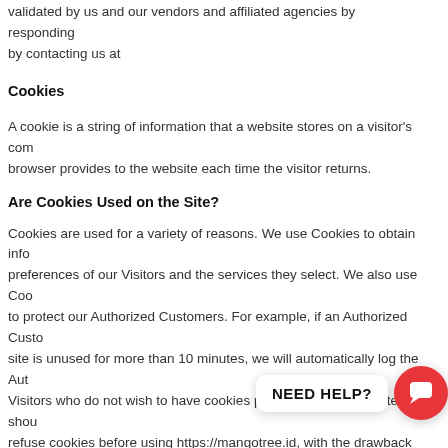validated by us and our vendors and affiliated agencies by contacting us at
Cookies
A cookie is a string of information that a website stores on a visitor's computer, and that the browser provides to the website each time the visitor returns.
Are Cookies Used on the Site?
Cookies are used for a variety of reasons. We use Cookies to obtain information about the preferences of our Visitors and the services they select. We also use Cookies for security purposes to protect our Authorized Customers. For example, if an Authorized Customer is logged on and the site is unused for more than 10 minutes, we will automatically log the Authorized Customer off. Visitors who do not wish to have cookies placed on their computers should set their browsers to refuse cookies before using https://mangotree.id, with the drawback that certain features of our site may not function properly without the aid of cookies.
Cookies used by our service providers
Our service providers use cookies and those cookies may be stored on your computer when you visit our website. You can find mo... cookies used...
How does mangotree use login information?